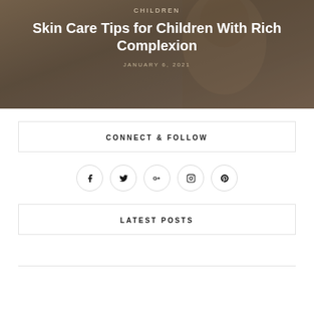[Figure (photo): Hero image of a child with a warm-toned blurred background; overlaid with category label, article title, and date]
CHILDREN
Skin Care Tips for Children With Rich Complexion
JANUARY 6, 2021
CONNECT & FOLLOW
[Figure (infographic): Row of five social media icon buttons: Facebook, Twitter, Google+, Instagram, Pinterest — each in a circle outline]
LATEST POSTS